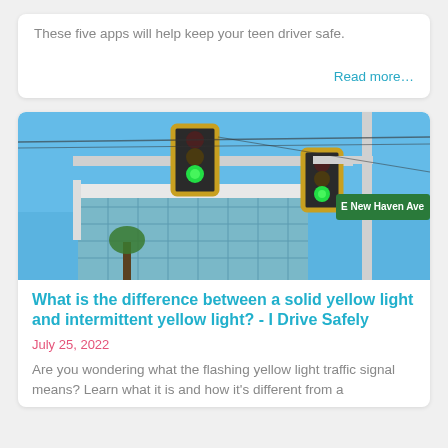These five apps will help keep your teen driver safe.
Read more...
[Figure (photo): Street intersection with traffic lights showing green and a street sign reading 'E New Haven Ave', blue sky and glass office building in background.]
What is the difference between a solid yellow light and intermittent yellow light? - I Drive Safely
July 25, 2022
Are you wondering what the flashing yellow light traffic signal means? Learn what it is and how it's different from a